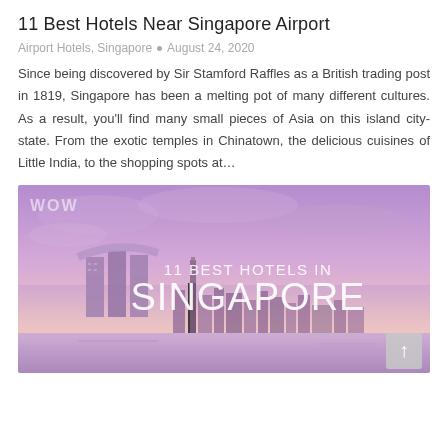11 Best Hotels Near Singapore Airport
Airport Hotels, Singapore • August 24, 2020
Since being discovered by Sir Stamford Raffles as a British trading post in 1819, Singapore has been a melting pot of many different cultures. As a result, you'll find many small pieces of Asia on this island city-state. From the exotic temples in Chinatown, the delicious cuisines of Little India, to the shopping spots at...
[Figure (photo): Promotional travel image showing the Singapore skyline at dusk with Marina Bay Sands hotel, overlaid with text '11 BEST HOTELS IN SINGAPORE' and a small WOW logo in the top-left corner.]